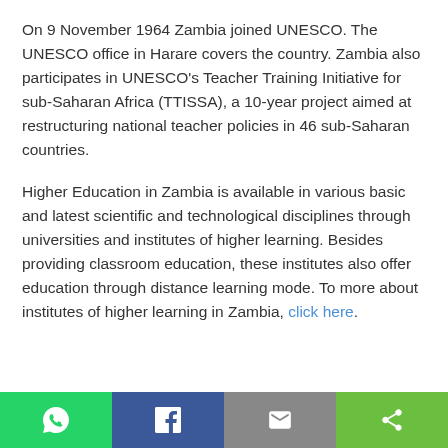On 9 November 1964 Zambia joined UNESCO. The UNESCO office in Harare covers the country. Zambia also participates in UNESCO's Teacher Training Initiative for sub-Saharan Africa (TTISSA), a 10-year project aimed at restructuring national teacher policies in 46 sub-Saharan countries.
Higher Education in Zambia is available in various basic and latest scientific and technological disciplines through universities and institutes of higher learning. Besides providing classroom education, these institutes also offer education through distance learning mode. To more about institutes of higher learning in Zambia, click here.
[WhatsApp] [Facebook] [Email] [Share]